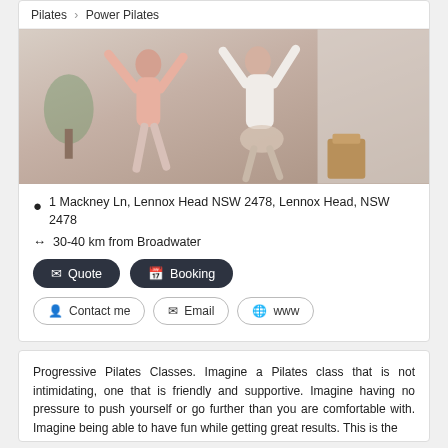Pilates > Power Pilates
[Figure (photo): Two women doing Pilates exercises in a bright studio, one in a pink sports bra and one in a white tank top, both stretching their arms upward.]
1 Mackney Ln, Lennox Head NSW 2478, Lennox Head, NSW 2478
30-40 km from Broadwater
Quote   Booking
Contact me   Email   www
Progressive Pilates Classes. Imagine a Pilates class that is not intimidating, one that is friendly and supportive. Imagine having no pressure to push yourself or go further than you are comfortable with. Imagine being able to have fun while getting great results. This is the